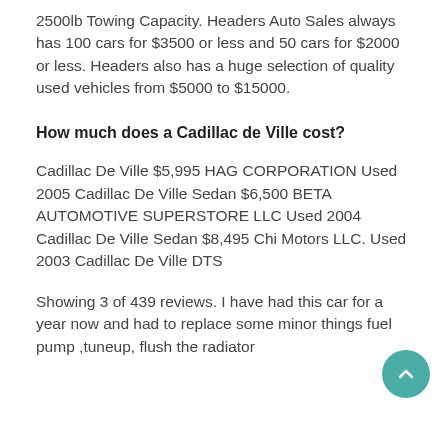2500lb Towing Capacity. Headers Auto Sales always has 100 cars for $3500 or less and 50 cars for $2000 or less. Headers also has a huge selection of quality used vehicles from $5000 to $15000.
How much does a Cadillac de Ville cost?
Cadillac De Ville $5,995 HAG CORPORATION Used 2005 Cadillac De Ville Sedan $6,500 BETA AUTOMOTIVE SUPERSTORE LLC Used 2004 Cadillac De Ville Sedan $8,495 Chi Motors LLC. Used 2003 Cadillac De Ville DTS
Showing 3 of 439 reviews. I have had this car for a year now and had to replace some minor things fuel pump ,tuneup, flush the radiator